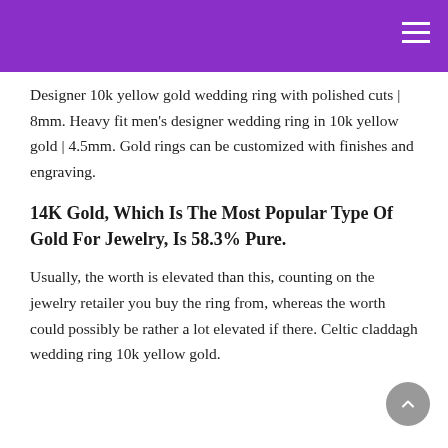Designer 10k yellow gold wedding ring with polished cuts | 8mm. Heavy fit men's designer wedding ring in 10k yellow gold | 4.5mm. Gold rings can be customized with finishes and engraving.
14K Gold, Which Is The Most Popular Type Of Gold For Jewelry, Is 58.3% Pure.
Usually, the worth is elevated than this, counting on the jewelry retailer you buy the ring from, whereas the worth could possibly be rather a lot elevated if there. Celtic claddagh wedding ring 10k yellow gold.